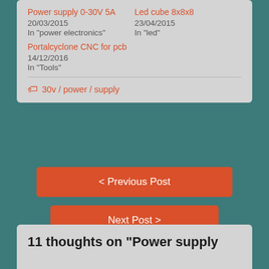Power supply 0-30V 5A
20/03/2015
In "power electronics"
Led cube 8x8x8
23/04/2015
In "led"
Portalcyclone CNC for pcb
14/12/2016
In "Tools"
30v / power / supply
< Previous Post
Next Post >
11 thoughts on “Power supply